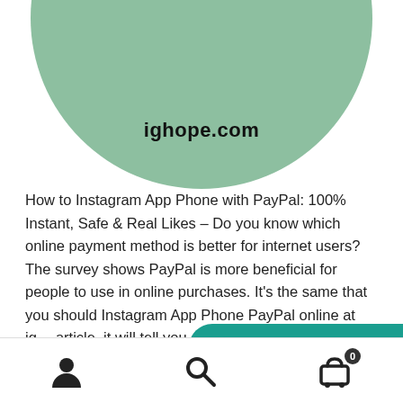[Figure (illustration): Circular green badge with bold italic white text reading 'INSTAGRAM VIEWS' with black outline, and 'ighope.com' in bold black text below]
How to Instagram App Phone with PayPal: 100% Instant, Safe & Real Likes – Do you know which online payment method is better for internet users? The survey shows PayPal is more beneficial for people to use in online purchases. It's the same that you should Instagram App Phone PayPal online at ig... article, it will tell you all the things about buying
[Figure (infographic): Teal WhatsApp chat button with WhatsApp icon and text 'How can I help you?']
User icon | Search icon | Cart icon (0)